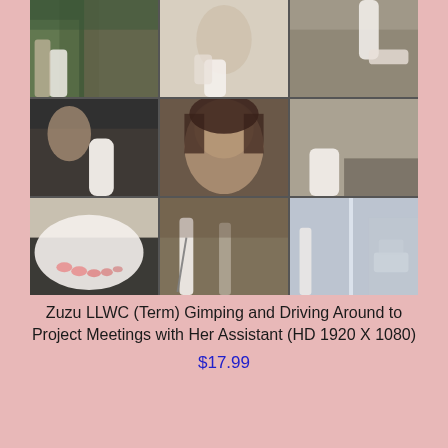[Figure (photo): 3x3 grid of video thumbnail images showing a woman with a leg cast in various scenes: walking outdoors, seated indoors, close-up portrait, riding in a car, close-up of cast foot, standing with another woman outdoors, and seated near glass furniture.]
Zuzu LLWC (Term) Gimping and Driving Around to Project Meetings with Her Assistant (HD 1920 X 1080)
$17.99